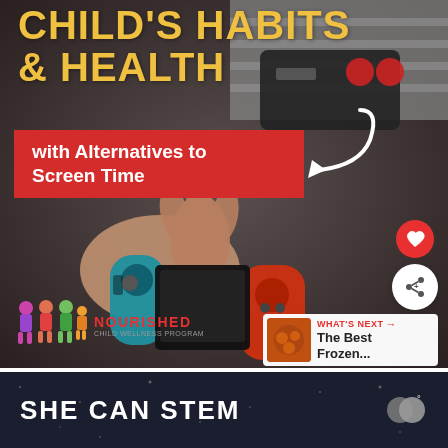Child's Habits & Health
with Alternatives to Screen Time
[Figure (photo): Child's hands holding a Nintendo Switch gaming controller, dark background with striped shirt visible at top]
[Figure (logo): NOURISHED logo with colorful child figures]
WHAT'S NEXT → The Best Frozen...
SHE CAN STEM
[Figure (logo): Mastercard-style overlapping circles logo with degree symbol]